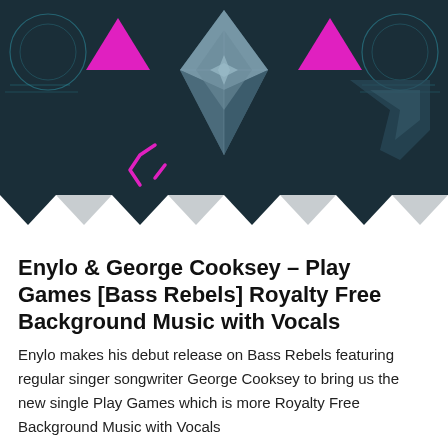[Figure (illustration): Dark teal/navy background with geometric diamond/crystal shapes in the center, two magenta/pink downward-pointing triangles on either side, pink angular bracket shapes, and decorative circular arc elements. The bottom portion transitions to white via zigzag/chevron shapes in dark and white.]
Enylo & George Cooksey – Play Games [Bass Rebels] Royalty Free Background Music with Vocals
Enylo makes his debut release on Bass Rebels featuring regular singer songwriter George Cooksey to bring us the new single Play Games which is more Royalty Free Background Music with Vocals